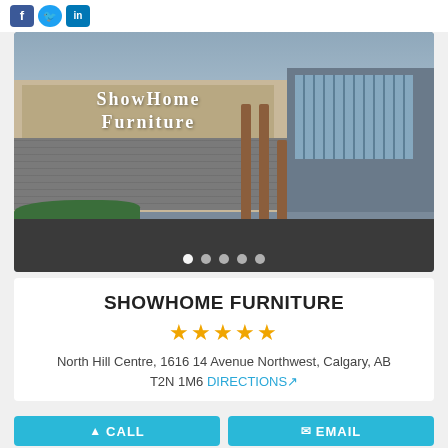[Figure (screenshot): Social media icons: Facebook, Twitter, LinkedIn]
[Figure (photo): Exterior photo of ShowHome Furniture store building with stone wall, wooden posts, and signage reading ShowHome Furniture. Image carousel with 5 dot indicators.]
SHOWHOME FURNITURE
★★★★★
North Hill Centre, 1616 14 Avenue Northwest, Calgary, AB T2N 1M6 DIRECTIONS
CALL   EMAIL